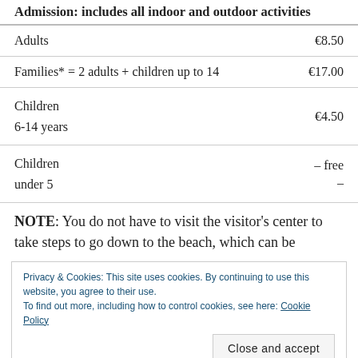Admission: includes all indoor and outdoor activities
|  |  |
| --- | --- |
| Adults | €8.50 |
| Families* = 2 adults + children up to 14 | €17.00 |
| Children
6-14 years | €4.50 |
| Children
under 5 | – free
– |
NOTE: You do not have to visit the visitor's center to take steps to go down to the beach, which can be
Privacy & Cookies: This site uses cookies. By continuing to use this website, you agree to their use.
To find out more, including how to control cookies, see here: Cookie Policy
Close and accept